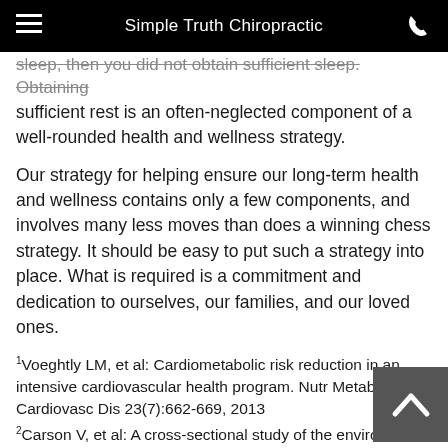Simple Truth Chiropractic
sleep, then you did not obtain sufficient sleep. Obtaining sufficient rest is an often-neglected component of a well-rounded health and wellness strategy.
Our strategy for helping ensure our long-term health and wellness contains only a few components, and involves many less moves than does a winning chess strategy. It should be easy to put such a strategy into place. What is required is a commitment and dedication to ourselves, our families, and our loved ones.
1Voeghtly LM, et al: Cardiometabolic risk reduction in an intensive cardiovascular health program. Nutr Metab Cardiovasc Dis 23(7):662-669, 2013
2Carson V, et al: A cross-sectional study of the environment, physical activity, and screen time among young children and their parents. BMC Public Health